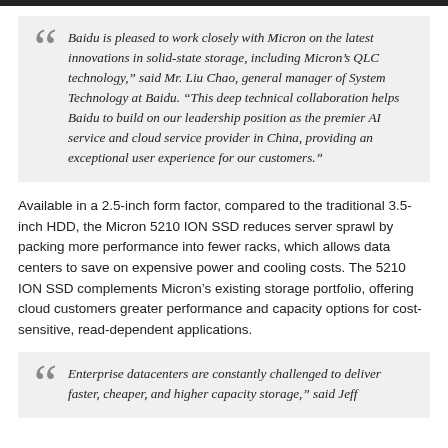Baidu is pleased to work closely with Micron on the latest innovations in solid-state storage, including Micron’s QLC technology,” said Mr. Liu Chao, general manager of System Technology at Baidu. “This deep technical collaboration helps Baidu to build on our leadership position as the premier AI service and cloud service provider in China, providing an exceptional user experience for our customers.”
Available in a 2.5-inch form factor, compared to the traditional 3.5-inch HDD, the Micron 5210 ION SSD reduces server sprawl by packing more performance into fewer racks, which allows data centers to save on expensive power and cooling costs. The 5210 ION SSD complements Micron’s existing storage portfolio, offering cloud customers greater performance and capacity options for cost-sensitive, read-dependent applications.
Enterprise datacenters are constantly challenged to deliver faster, cheaper, and higher capacity storage,” said Jeff